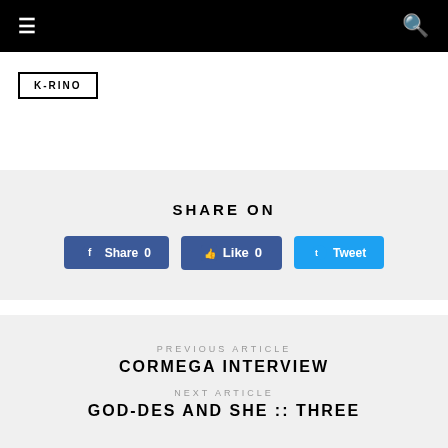≡   🔍
K-RINO
SHARE ON
Share 0   Like 0   Tweet
PREVIOUS ARTICLE
CORMEGA INTERVIEW
NEXT ARTICLE
GOD-DES AND SHE :: THREE